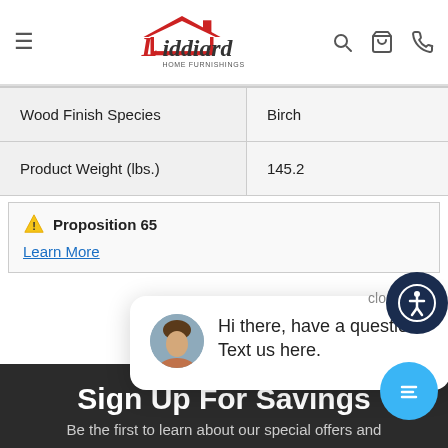Liddiard Home Furnishings
| Wood Finish Species | Birch |
| Product Weight (lbs.) | 145.2 |
⚠ Proposition 65
Learn More
Hi there, have a question? Text us here.
Sign Up For Savings
Be the first to learn about our special offers and